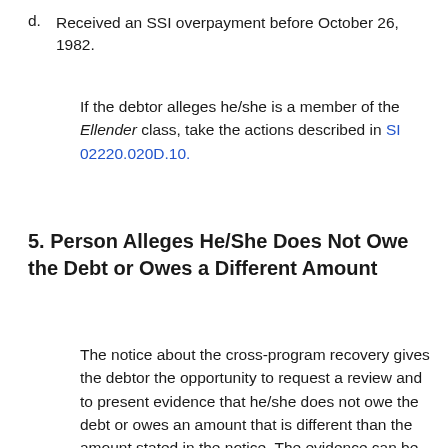d. Received an SSI overpayment before October 26, 1982.
If the debtor alleges he/she is a member of the Ellender class, take the actions described in SI 02220.020D.10.
5. Person Alleges He/She Does Not Owe the Debt or Owes a Different Amount
The notice about the cross-program recovery gives the debtor the opportunity to request a review and to present evidence that he/she does not owe the debt or owes an amount that is different than the amount stated in the notice. The evidence can be a cancelled check,